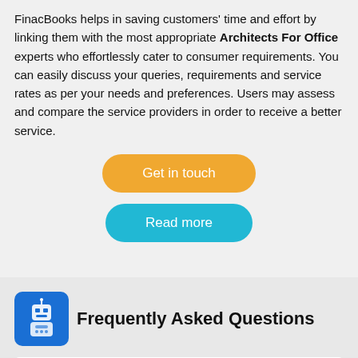FinacBooks helps in saving customers' time and effort by linking them with the most appropriate Architects For Office experts who effortlessly cater to consumer requirements. You can easily discuss your queries, requirements and service rates as per your needs and preferences. Users may assess and compare the service providers in order to receive a better service.
[Figure (other): Orange rounded button labeled 'Get in touch']
[Figure (other): Cyan/blue rounded button labeled 'Read more']
Frequently Asked Questions
[Figure (other): Blue square icon with a robot/ninja graphic]
What Makes FinacBooks Better Than Others?